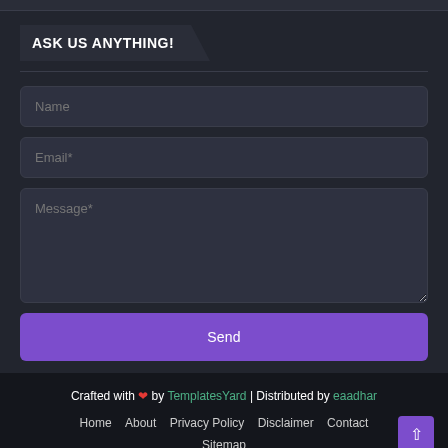ASK US ANYTHING!
[Figure (screenshot): Contact form with Name, Email*, Message* fields and a Send button]
Crafted with ❤ by TemplatesYard | Distributed by eaadhar
Home  About  Privacy Policy  Disclaimer  Contact  Sitemap